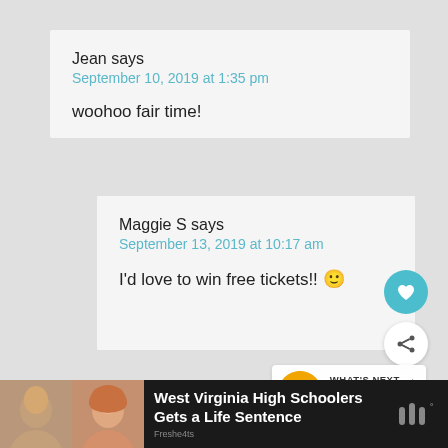Jean says
September 10, 2019 at 1:35 pm
woohoo fair time!
Maggie S says
September 13, 2019 at 10:17 am
I'd love to win free tickets!! 🙂
WHAT'S NEXT → Taste of the N.C. State...
West Virginia High Schoolers Gets a Life Sentence